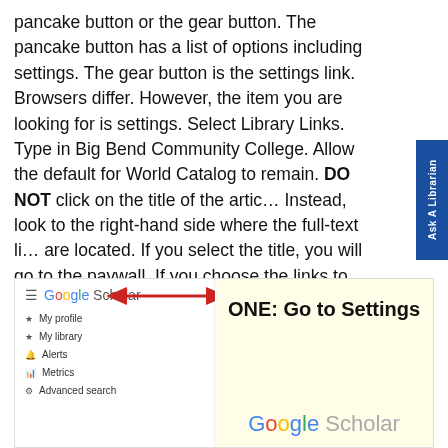pancake button or the gear button. The pancake button has a list of options including settings. The gear button is the settings link. Browsers differ. However, the item you are looking for is settings. Select Library Links. Type in Big Bend Community College. Allow the default for World Catalog to remain. DO NOT click on the title of the article. Instead, look to the right-hand side where the full-text links are located. If you select the title, you will go to the paywall. If you choose the links to the right, in most cases you will go to the full text of the resource.
[Figure (screenshot): Screenshot of Google Scholar menu open showing hamburger icon and Google Scholar logo with a red double-headed arrow pointing to it. Menu items include My profile, My library, Alerts, Metrics, Advanced search. Right side shows 'ONE: Go to Settings' in bold and Google Scholar logo.]